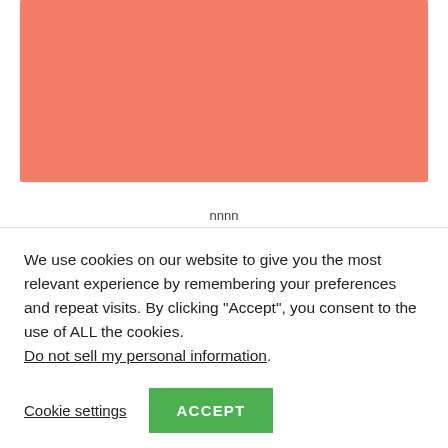[Figure (other): Solid salmon/coral colored rectangular block serving as a decorative image placeholder]
nnnn
We use cookies on our website to give you the most relevant experience by remembering your preferences and repeat visits. By clicking “Accept”, you consent to the use of ALL the cookies.
Do not sell my personal information.
Cookie settings
ACCEPT